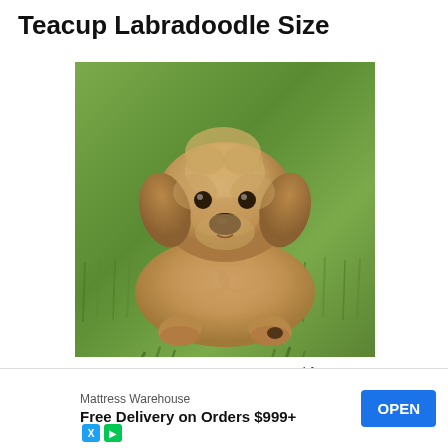Teacup Labradoodle Size
[Figure (photo): A fluffy golden/apricot colored Teacup Labradoodle puppy lying on green grass, looking directly at the camera with a black nose and dark eyes.]
A Tea[cup Labradoodle is a very small si]ze and fa[mily-friendly dog. They aren't ver]y big
[Figure (other): Advertisement banner: Mattress Warehouse - Free Delivery on Orders $999+ with OPEN button]